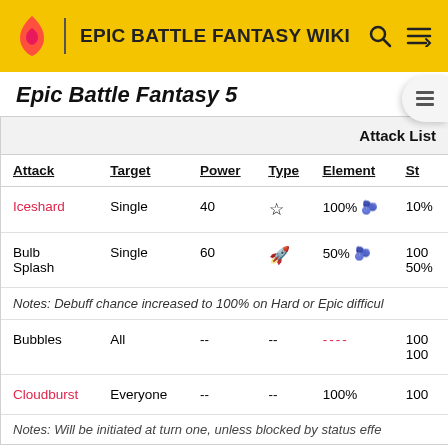EPIC BATTLE FANTASY WIKI
Epic Battle Fantasy 5
| Attack | Target | Power | Type | Element | St... |
| --- | --- | --- | --- | --- | --- |
| Iceshard | Single | 40 | ☆ | 100% 🫐 | 10%... |
| Bulb Splash | Single | 60 | 🚀 | 50% 🫐 | 100... 50%... |
| Notes: Debuff chance increased to 100% on Hard or Epic difficul... |
| Bubbles | All | -- | -- | ---- | 100... 100... |
| Cloudburst | Everyone | -- | -- | 100% | 100... |
| Notes: Will be initiated at turn one, unless blocked by status effe... |